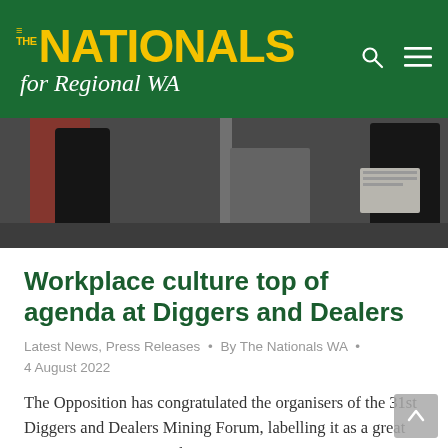THE NATIONALS for Regional WA
[Figure (photo): Photo of people at the Diggers and Dealers Mining Forum event, showing legs and lower bodies of attendees in a conference setting.]
Workplace culture top of agenda at Diggers and Dealers
Latest News, Press Releases • By The Nationals WA • 4 August 2022
The Opposition has congratulated the organisers of the 31st Diggers and Dealers Mining Forum, labelling it as a great opportunity to meet with